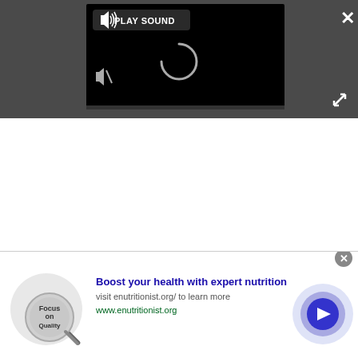[Figure (screenshot): Video player overlay on a dark gray background. Shows a black video area with a 'PLAY SOUND' button at top, a loading spinner in the center, and a mute icon at bottom left. A white X close button appears top right, and an expand/fullscreen icon at bottom right.]
[Figure (infographic): Advertisement bar at the bottom. Shows a 'Focus on Quality' magnifying glass logo on the left, bold blue text 'Boost your health with expert nutrition', smaller text 'visit enutritionist.org/ to learn more', green URL 'www.enutritionist.org', and a blue circular play button on the right. A gray close circle is at the top right corner of the ad.]